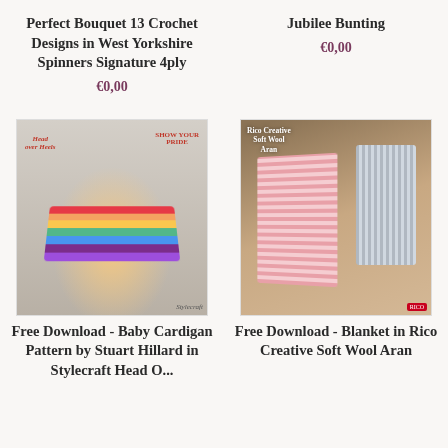Perfect Bouquet 13 Crochet Designs in West Yorkshire Spinners Signature 4ply
€0,00
Jubilee Bunting
€0,00
[Figure (photo): Woman smiling holding a rainbow striped crochet cardigan, with Show Your Pride / Head Over Heels branding and Stylecraft logo]
[Figure (photo): Woman sitting in chair with pink and grey knitted/crocheted blanket, Rico Creative Soft Wool Aran product image]
Free Download - Baby Cardigan Pattern by Stuart Hillard in Stylecraft Head Over...
Free Download - Blanket in Rico Creative Soft Wool Aran